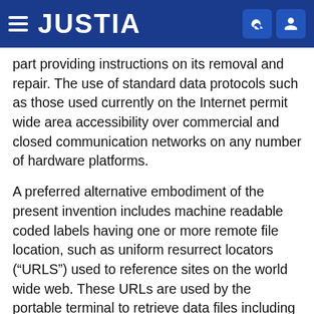JUSTIA
part providing instructions on its removal and repair. The use of standard data protocols such as those used currently on the Internet permit wide area accessibility over commercial and closed communication networks on any number of hardware platforms.
A preferred alternative embodiment of the present invention includes machine readable coded labels having one or more remote file location, such as uniform resurrect locators (“URLS”) used to reference sites on the world wide web. These URLs are used by the portable terminal to retrieve data files including items such as prices, nutritional data, coupon availability, promotions, marketing data and general interest data from various local and remote addresses available over a wireless communication network. The machine coded labels are preferably encoded with a high-density bar